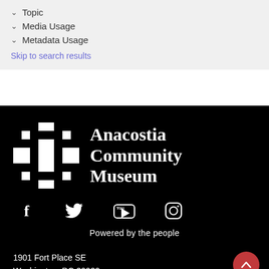Topic
Media Usage
Metadata Usage
Skip to search results
[Figure (logo): Anacostia Community Museum logo with white pixelated cross/snowflake icon and white serif text reading Anacostia Community Museum on black background]
[Figure (infographic): Social media icons: Facebook (f), Twitter (bird), YouTube (You with play button), Instagram (camera outline), all in white on black background]
Powered by the people
1901 Fort Place SE
Washington, DC 20020